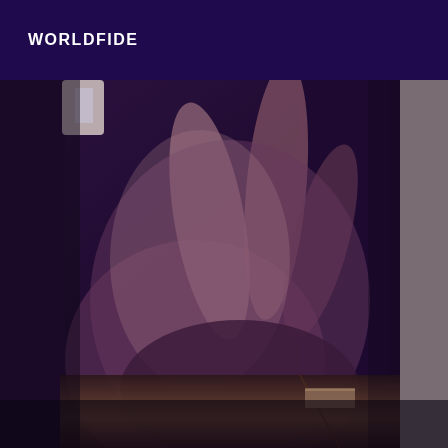WORLDFIDE
[Figure (photo): Close-up blurry photo of a hand pressing down on a dark surface, with purple/dark tones throughout. A small white object visible in upper left corner and a wooden or laminate floor/surface visible at the bottom.]